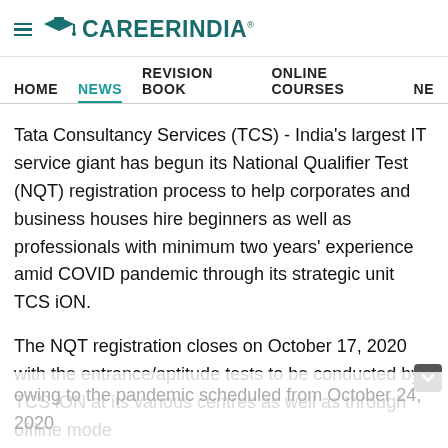CareerIndia
HOME  NEWS  REVISION BOOK  ONLINE COURSES  NE
Tata Consultancy Services (TCS) - India's largest IT service giant has begun its National Qualifier Test (NQT) registration process to help corporates and business houses hire beginners as well as professionals with minimum two years' experience amid COVID pandemic through its strategic unit TCS iON.
The NQT registration closes on October 17, 2020 with the entrance/aptitude tests to be conducted by TCS iON at its various centres as well as through offline mode owing to the pandemic scheduled from October 24, 2020